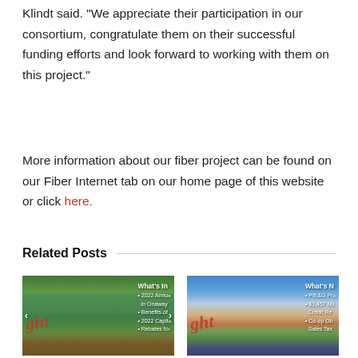Klindt said. “We appreciate their participation in our consortium, congratulate them on their successful funding efforts and look forward to working with them on this project.”
More information about our fiber project can be found on our Fiber Internet tab on our home page of this website or click here.
Related Posts
[Figure (photo): Newsletter thumbnail showing a river kayaking scene with text overlay reading 'What's In', bullet points about 2022 Annual In Onaway, Benefits of, 2022 Capit, Rebates fo, and a navigation arrow]
[Figure (photo): Newsletter thumbnail showing a sunset over a field of purple flowers with text overlay reading 'What's N', bullet points about PIE&G Pr, $1,457 Mil Credit Re, Co-op Ob, Sales Tax, and a navigation arrow]